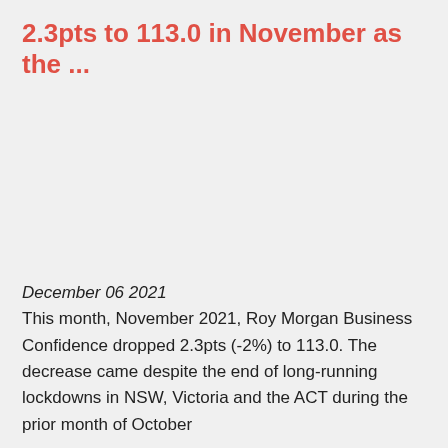2.3pts to 113.0 in November as the ...
December 06 2021
This month, November 2021, Roy Morgan Business Confidence dropped 2.3pts (-2%) to 113.0. The decrease came despite the end of long-running lockdowns in NSW, Victoria and the ACT during the prior month of October